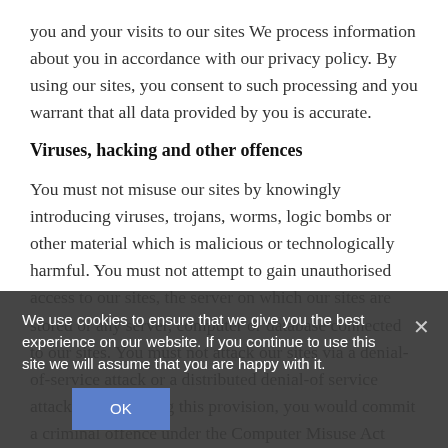you and your visits to our sites We process information about you in accordance with our privacy policy. By using our sites, you consent to such processing and you warrant that all data provided by you is accurate.
Viruses, hacking and other offences
You must not misuse our sites by knowingly introducing viruses, trojans, worms, logic bombs or other material which is malicious or technologically harmful. You must not attempt to gain unauthorised access to our sites, the server on which our sites are stored or any server, computer or database connected to our sites. You must not attack our sites via a denial-of-service attack or a distributed denial-of service attack. By breaching this provision, you would commit a criminal offence under the Computer Misuse Act 1990. We will report any such breach to the relevant law enforcement authorities and will co-operate with those authorities by disclosing your identity to them. In the event
We use cookies to ensure that we give you the best experience on our website. If you continue to use this site we will assume that you are happy with it.